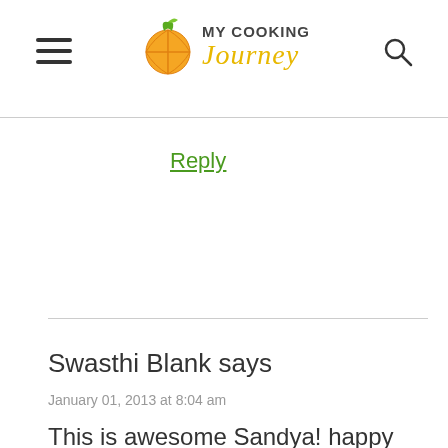MY COOKING Journey
Reply
Swasthi Blank says
January 01, 2013 at 8:04 am
This is awesome Sandya! happy new year
Reply